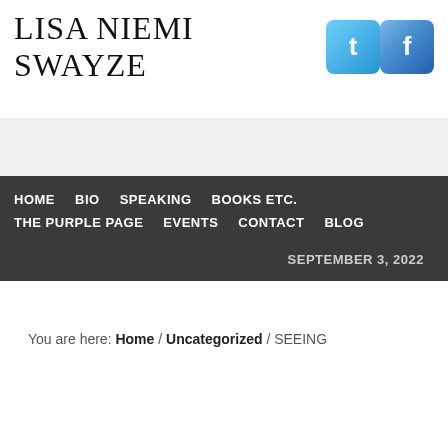LISA NIEMI SWAYZE
[Figure (logo): Twitter and Facebook social media icon buttons]
HOME   BIO   SPEAKING   BOOKS ETC.   THE PURPLE PAGE   EVENTS   CONTACT   BLOG
SEPTEMBER 3, 2022
You are here: Home / Uncategorized / SEEING